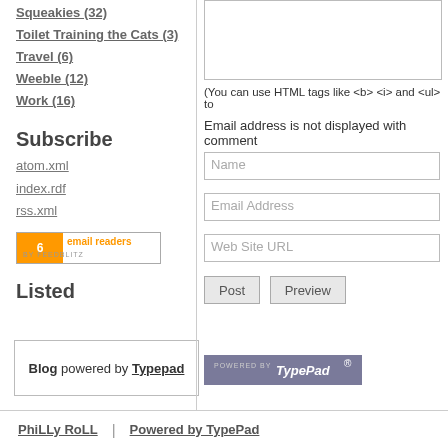Squeakies (32)
Toilet Training the Cats (3)
Travel (6)
Weeble (12)
Work (16)
Subscribe
atom.xml
index.rdf
rss.xml
[Figure (other): FeedBlitz email readers badge showing 6 email readers, BY FEEDBLITZ]
Listed
Blog powered by Typepad
(You can use HTML tags like <b> <i> and <ul> to
Email address is not displayed with comment
[Figure (other): POWERED BY TypePad badge]
PhiLLy RoLL | Powered by TypePad